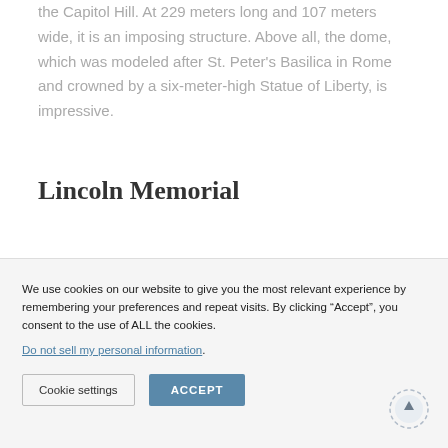the Capitol Hill. At 229 meters long and 107 meters wide, it is an imposing structure. Above all, the dome, which was modeled after St. Peter's Basilica in Rome and crowned by a six-meter-high Statue of Liberty, is impressive.
Lincoln Memorial
We use cookies on our website to give you the most relevant experience by remembering your preferences and repeat visits. By clicking “Accept”, you consent to the use of ALL the cookies.
Do not sell my personal information.